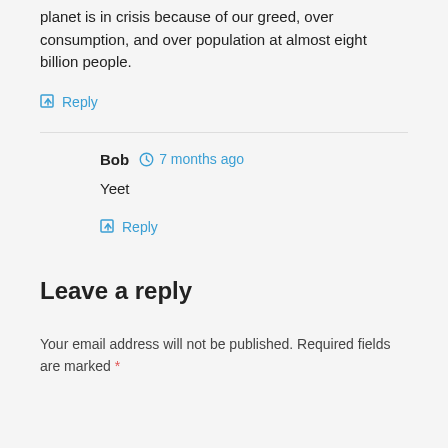planet is in crisis because of our greed, over consumption, and over population at almost eight billion people.
Reply
Bob  7 months ago
Yeet
Reply
Leave a reply
Your email address will not be published. Required fields are marked *